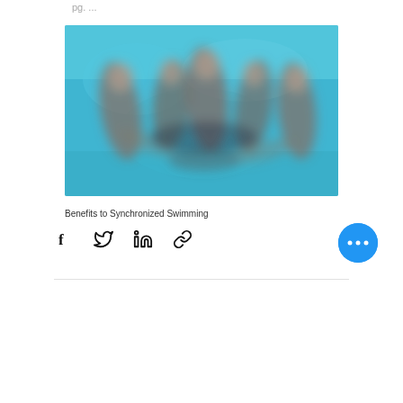pg. ...
[Figure (photo): Blurred underwater photo of synchronized swimmers in a blue pool, multiple figures visible performing synchronized movements]
Benefits to Synchronized Swimming